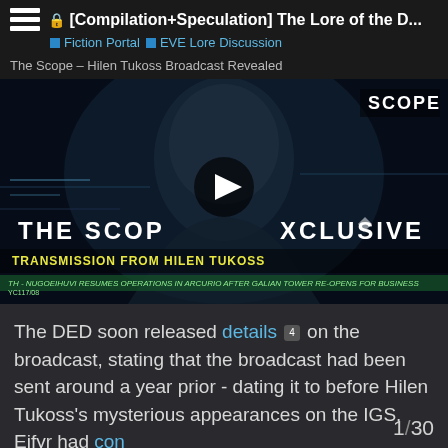[Compilation+Speculation] The Lore of the D...
Fiction Portal   EVE Lore Discussion
The Scope – Hilen Tukoss Broadcast Revealed
[Figure (screenshot): Video thumbnail showing THE SCOP▶XCLUSIVE with a face in the background, 'TRANSMISSION FROM HILEN TUKOSS' banner, SCOPE logo top right, and a news ticker at the bottom. A play button overlay is centered on the image.]
The DED soon released details 4 on the broadcast, stating that the broadcast had been sent around a year prior - dating it to before Hilen Tukoss's mysterious appearances on the IGS. Eifyr had con 1/30